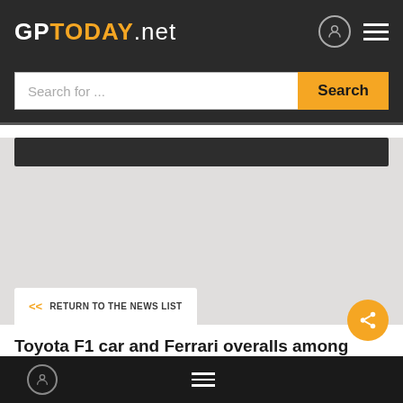GPTODAY.net
Search for ...
[Figure (screenshot): Dark banner area in content section]
<< RETURN TO THE NEWS LIST
Toyota F1 car and Ferrari overalls among
Bottom navigation bar with user icon and hamburger menu